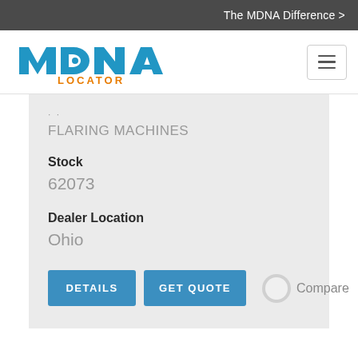The MDNA Difference >
[Figure (logo): MDNA Locator logo in blue and orange]
FLARING MACHINES
Stock
62073
Dealer Location
Ohio
DETAILS
GET QUOTE
Compare